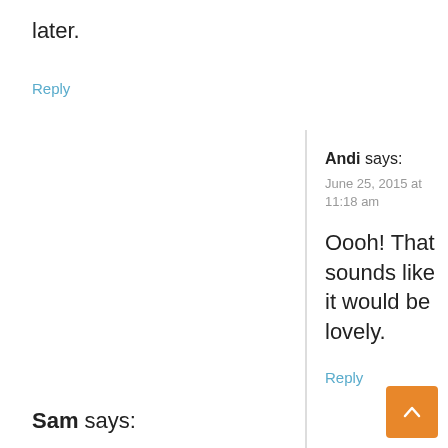later.
Reply
Andi says:
June 25, 2015 at 11:18 am
Oooh! That sounds like it would be lovely.
Reply
Sam says: